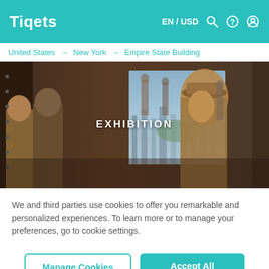Tiqets | EN / USD
United States → New York → Empire State Building
[Figure (photo): Hero image showing bronze statues of construction workers in an exhibition, with a panoramic view of New York City in the background. Text overlay reads 'EXHIBITION'.]
We and third parties use cookies to offer you remarkable and personalized experiences. To learn more or to manage your preferences, go to cookie settings.
Manage Cookies | Accept All